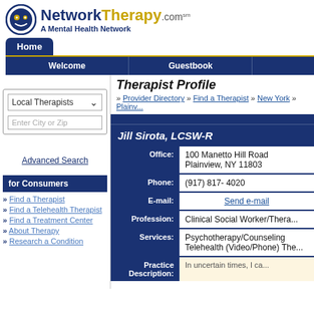[Figure (logo): NetworkTherapy.com logo with circular icon and text 'A Mental Health Network']
Home | Welcome | Guestbook
Therapist Profile
» Provider Directory » Find a Therapist » New York » Plainv...
Local Therapists dropdown, Enter City or Zip, Advanced Search
for Consumers
Find a Therapist
Find a Telehealth Therapist
Find a Treatment Center
About Therapy
Research a Condition
| Field | Value |
| --- | --- |
| Office: | 100 Manetto Hill Road
Plainview, NY 11803 |
| Phone: | (917) 817- 4020 |
| E-mail: | Send e-mail |
| Profession: | Clinical Social Worker/Thera... |
| Services: | Psychotherapy/Counseling
Telehealth (Video/Phone) The... |
| Practice Description: | In uncertain times, I ca... |